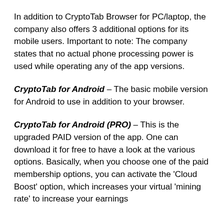In addition to CryptoTab Browser for PC/laptop, the company also offers 3 additional options for its mobile users. Important to note: The company states that no actual phone processing power is used while operating any of the app versions.
CryptoTab for Android – The basic mobile version for Android to use in addition to your browser.
CryptoTab for Android (PRO) – This is the upgraded PAID version of the app. One can download it for free to have a look at the various options. Basically, when you choose one of the paid membership options, you can activate the 'Cloud Boost' option, which increases your virtual 'mining rate' to increase your earnings